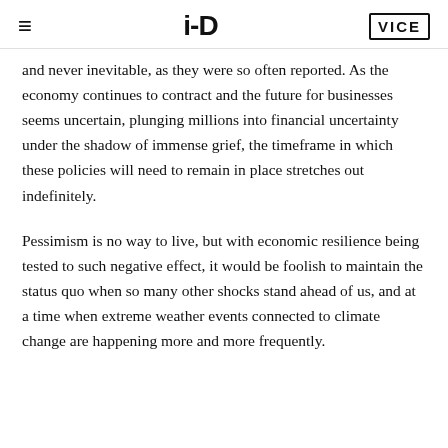≡   i-D   VICE
and never inevitable, as they were so often reported. As the economy continues to contract and the future for businesses seems uncertain, plunging millions into financial uncertainty under the shadow of immense grief, the timeframe in which these policies will need to remain in place stretches out indefinitely.
Pessimism is no way to live, but with economic resilience being tested to such negative effect, it would be foolish to maintain the status quo when so many other shocks stand ahead of us, and at a time when extreme weather events connected to climate change are happening more and more frequently.